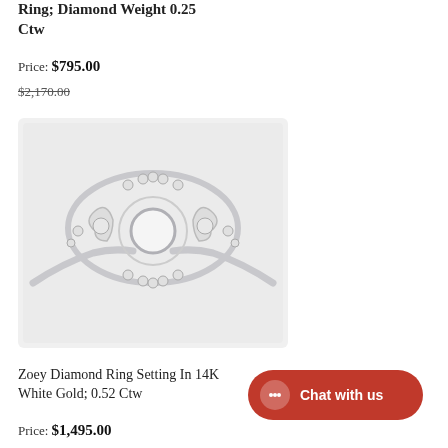Ring; Diamond Weight 0.25 Ctw
Price: $795.00
$2,170.00
[Figure (photo): A diamond ring setting in white gold with multiple diamonds around an open center mount, shown against a light gray background.]
Zoey Diamond Ring Setting In 14K White Gold; 0.52 Ctw
Price: $1,495.00